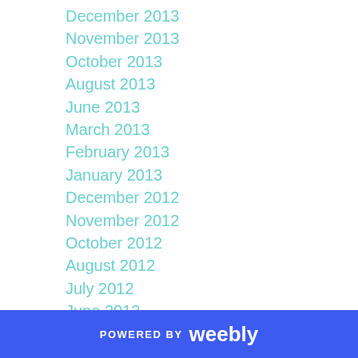December 2013
November 2013
October 2013
August 2013
June 2013
March 2013
February 2013
January 2013
December 2012
November 2012
October 2012
August 2012
July 2012
June 2012
May 2012
March 2012
February 2012
POWERED BY weebly